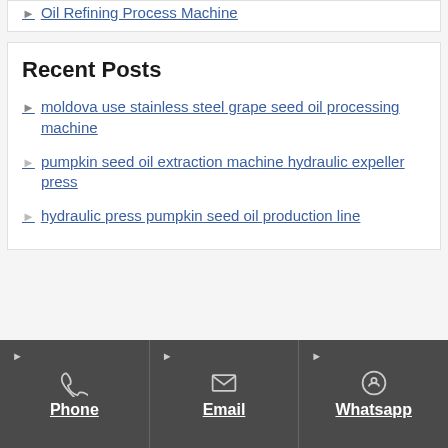Oil Refining Process Machine
Recent Posts
moldova use stainless steel grape seed oil processing machine
pumpkin seed oil extraction machine hydraulic expeller press
hydraulic press pumpkin seed oil production line
Phone  Email  Whatsapp